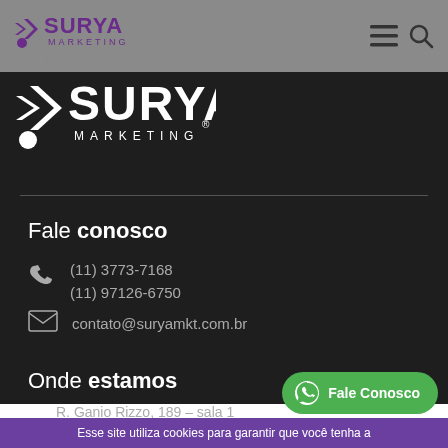[Figure (logo): Surya Marketing logo small in navigation bar (purple and white)]
[Figure (logo): Surya Marketing large logo in dark section (white)]
Fale conosco
(11) 3773-7168
(11) 97126-6750
contato@suryamkt.com.br
Onde estamos
R. Ganio Rizzo, 189 – sala 1
Esse site utiliza cookies para garantir que você tenha a